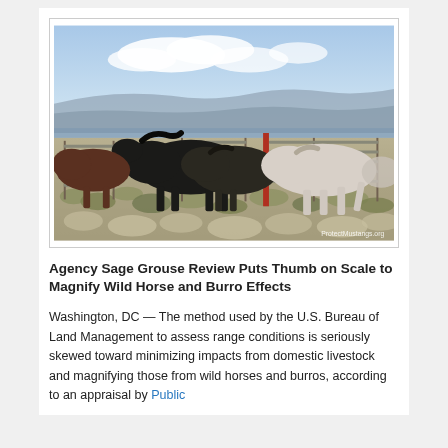[Figure (photo): Wild horses in a metal corral pen on an arid desert landscape with sagebrush and distant hills under a partly cloudy sky. Several horses including black and white ones are visible behind the fence. Watermark reads 'ProtectMustangs.org'.]
Agency Sage Grouse Review Puts Thumb on Scale to Magnify Wild Horse and Burro Effects
Washington, DC — The method used by the U.S. Bureau of Land Management to assess range conditions is seriously skewed toward minimizing impacts from domestic livestock and magnifying those from wild horses and burros, according to an appraisal by Public